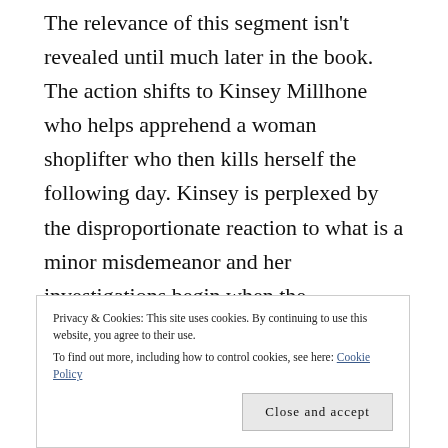The relevance of this segment isn't revealed until much later in the book. The action shifts to Kinsey Millhone who helps apprehend a woman shoplifter who then kills herself the following day. Kinsey is perplexed by the disproportionate reaction to what is a minor misdemeanor and her investigations begin when the shoplifter's fiancée hires Kinsey to look into the suicide. In a parallel plot, Lorenzo Dante begins to look at way of getting out of the family business and away from his violent younger brother. When he encounters the glamorous Nora who is saddled with
Privacy & Cookies: This site uses cookies. By continuing to use this website, you agree to their use.
To find out more, including how to control cookies, see here: Cookie Policy
Close and accept